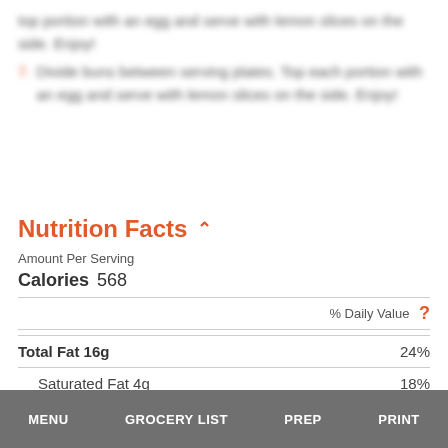top portion with an egg and serve with lemon slices on the side. Enjoy!
7. Divide buns between serving plates. Top each portion with an egg and serve with lemon slices on the side. Enjoy!
Nutrition Facts
Amount Per Serving
Calories 568
% Daily Value ?
| Nutrient | Amount | % Daily Value |
| --- | --- | --- |
| Total Fat | 16g | 24% |
| Saturated Fat | 4g | 18% |
| Trans Fat | 0g |  |
MENU   GROCERY LIST   PREP   PRINT